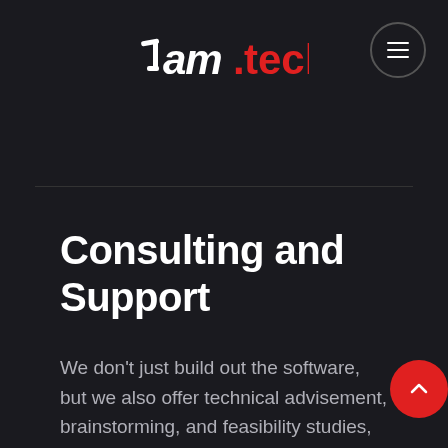[Figure (logo): 7am.tech logo with stylized '7am' in white bold italic and '.tech' in red, plus a hamburger menu button in a circle on the right]
Consulting and Support
We don't just build out the software, but we also offer technical advisement, brainstorming, and feasibility studies, as well as